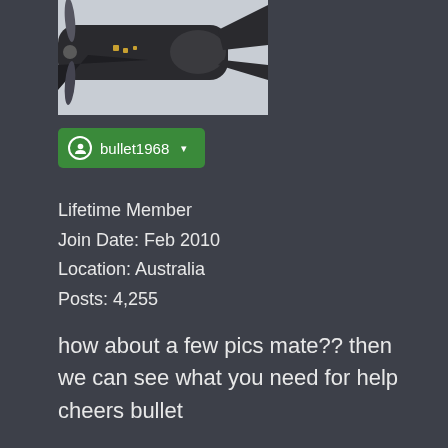[Figure (photo): Partial view of a model airplane (dark fuselage, gray propeller) on a white/gray surface, cropped at the top]
bullet1968 ▾
Lifetime Member
Join Date: Feb 2010
Location: Australia
Posts: 4,255
how about a few pics mate?? then we can see what you need for help
cheers bullet